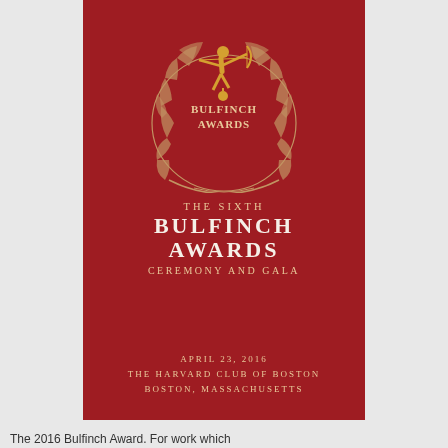[Figure (logo): Bulfinch Awards logo: a golden archer figurine atop a circular laurel wreath with the text 'BULFINCH AWARDS' in the center]
THE SIXTH BULFINCH AWARDS CEREMONY AND GALA
APRIL 23, 2016
THE HARVARD CLUB OF BOSTON
BOSTON, MASSACHUSETTS
The 2016 Bulfinch Award. For work which